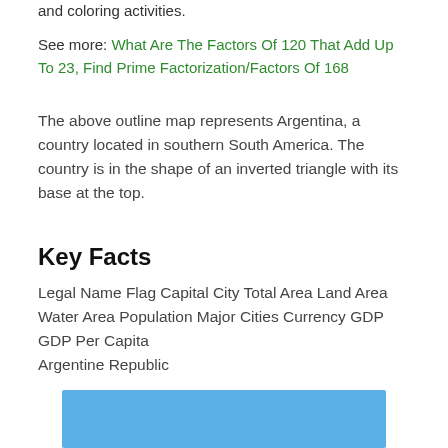and coloring activities.
See more: What Are The Factors Of 120 That Add Up To 23, Find Prime Factorization/Factors Of 168
The above outline map represents Argentina, a country located in southern South America. The country is in the shape of an inverted triangle with its base at the top.
Key Facts
Legal Name Flag Capital City Total Area Land Area Water Area Population Major Cities Currency GDP GDP Per Capita
Argentine Republic
[Figure (other): Blue rectangular image area at the bottom of the page]